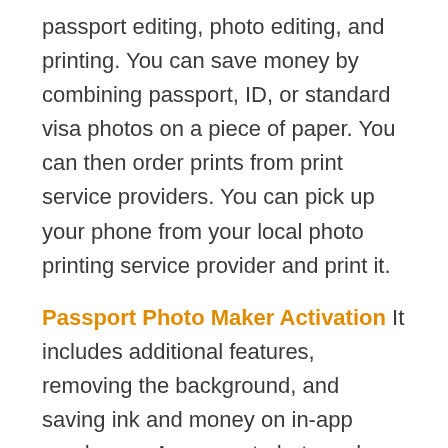passport editing, photo editing, and printing. You can save money by combining passport, ID, or standard visa photos on a piece of paper. You can then order prints from print service providers. You can pick up your phone from your local photo printing service provider and print it.
Passport Photo Maker Activation It includes additional features, removing the background, and saving ink and money on in-app purchases. A passport photo maker is a very easy and convenient way to take passport photos. It strongly supports various locations and sizes of passport photos. Passport Photo Maker Crack Download is a photo-editing program developed by AMS Desktop Desktop. You can create and print high-quality ID